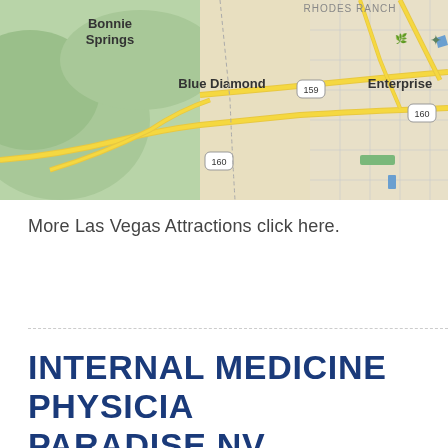[Figure (map): Google Maps view showing area around Blue Diamond and Enterprise near Las Vegas, NV. Shows roads 159 and 160, neighborhoods including Bonnie Springs, Blue Diamond, Rhodes Ranch, and Enterprise. Green hilly terrain on left, tan/beige urban grid on right.]
More Las Vegas Attractions click here.
INTERNAL MEDICINE PHYSICIAN PARADISE NV